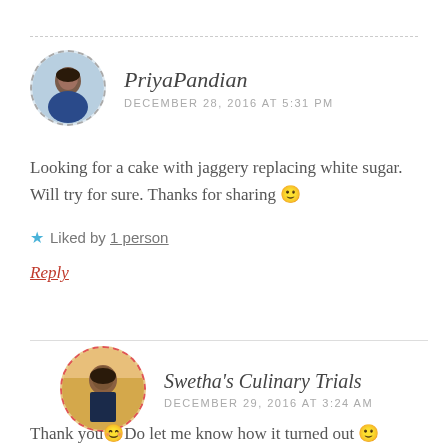[Figure (photo): Circular avatar of PriyaPandian with dashed gray border]
PriyaPandian
DECEMBER 28, 2016 AT 5:31 PM
Looking for a cake with jaggery replacing white sugar. Will try for sure. Thanks for sharing 🙂
★ Liked by 1 person
Reply
[Figure (photo): Circular avatar of Swetha's Culinary Trials with dashed red border]
Swetha's Culinary Trials
DECEMBER 29, 2016 AT 3:24 AM
Thank you😊Do let me know how it turned out 🙂